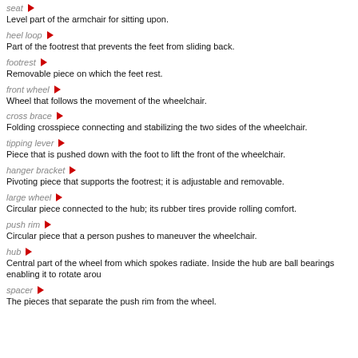seat
Level part of the armchair for sitting upon.
heel loop
Part of the footrest that prevents the feet from sliding back.
footrest
Removable piece on which the feet rest.
front wheel
Wheel that follows the movement of the wheelchair.
cross brace
Folding crosspiece connecting and stabilizing the two sides of the wheelchair.
tipping lever
Piece that is pushed down with the foot to lift the front of the wheelchair.
hanger bracket
Pivoting piece that supports the footrest; it is adjustable and removable.
large wheel
Circular piece connected to the hub; its rubber tires provide rolling comfort.
push rim
Circular piece that a person pushes to maneuver the wheelchair.
hub
Central part of the wheel from which spokes radiate. Inside the hub are ball bearings enabling it to rotate arou
spacer
The pieces that separate the push rim from the wheel.